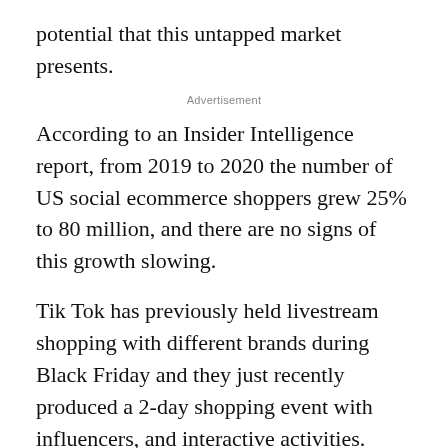potential that this untapped market presents.
Advertisement
According to an Insider Intelligence report, from 2019 to 2020 the number of US social ecommerce shoppers grew 25% to 80 million, and there are no signs of this growth slowing.
Tik Tok has previously held livestream shopping with different brands during Black Friday and they just recently produced a 2-day shopping event with influencers, and interactive activities.
People already love the convenience of shopping online, as well as interacting with their friends on social media. Those friends who share a mutual